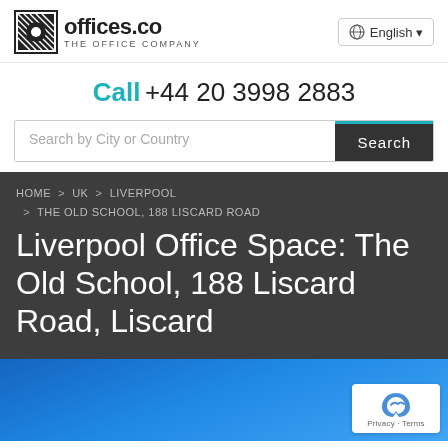offices.co the office company | English
Call +44 20 3998 2883
Search by City or Country | Search
HOME > UK > LIVERPOOL > THE OLD SCHOOL, 188 LISCARD ROAD
Liverpool Office Space: The Old School, 188 Liscard Road, Liscard
[Figure (photo): Blue gradient background photo area at the bottom of the page]